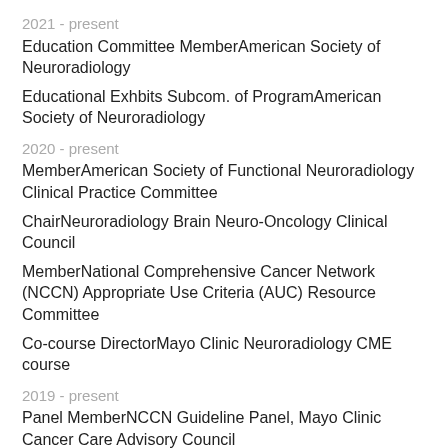2021 - present
Education Committee MemberAmerican Society of Neuroradiology
Educational Exhbits Subcom. of ProgramAmerican Society of Neuroradiology
2020 - present
MemberAmerican Society of Functional Neuroradiology Clinical Practice Committee
ChairNeuroradiology Brain Neuro-Oncology Clinical Council
MemberNational Comprehensive Cancer Network (NCCN) Appropriate Use Criteria (AUC) Resource Committee
Co-course DirectorMayo Clinic Neuroradiology CME course
2019 - present
Panel MemberNCCN Guideline Panel, Mayo Clinic Cancer Care Advisory Council